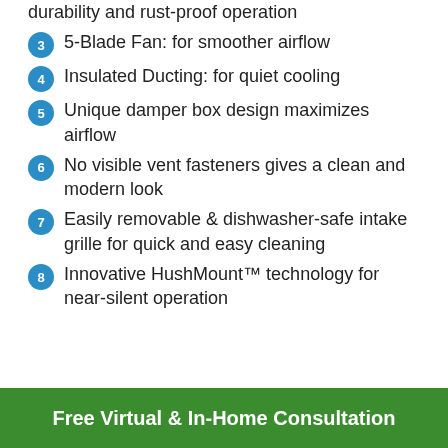durability and rust-proof operation
3 5-Blade Fan: for smoother airflow
4 Insulated Ducting: for quiet cooling
5 Unique damper box design maximizes airflow
6 No visible vent fasteners gives a clean and modern look
7 Easily removable & dishwasher-safe intake grille for quick and easy cleaning
8 Innovative HushMount™ technology for near-silent operation
Free Virtual & In-Home Consultation